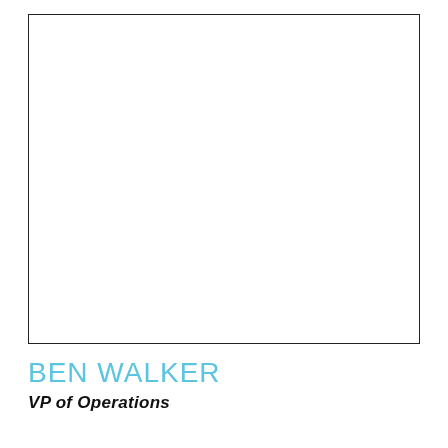[Figure (photo): Empty white photo placeholder box with black border]
BEN WALKER
VP of Operations